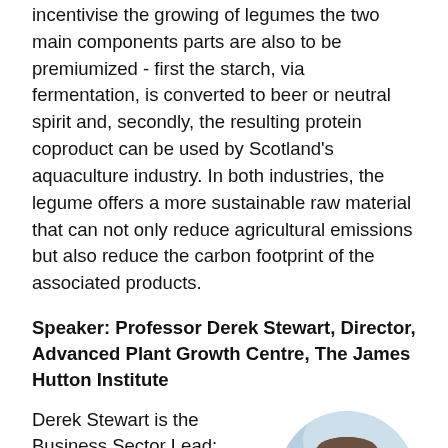incentivise the growing of legumes the two main components parts are also to be premiumized - first the starch, via fermentation, is converted to beer or neutral spirit and, secondly, the resulting protein coproduct can be used by Scotland's aquaculture industry. In both industries, the legume offers a more sustainable raw material that can not only reduce agricultural emissions but also reduce the carbon footprint of the associated products.
Speaker: Professor Derek Stewart, Director, Advanced Plant Growth Centre, The James Hutton Institute
Derek Stewart is the Business Sector Lead: AgriFood at the James Hutton Institute. As the Business Sector Lead: Agrifood, Derek is responsible for
[Figure (photo): Circular portrait photo of a middle-aged man with short hair, smiling, wearing a jacket, with a blurred light blue background.]